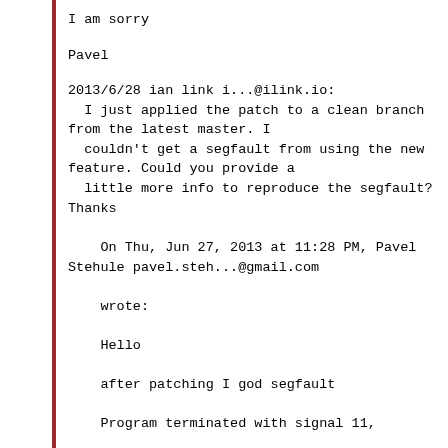I am sorry
Pavel
2013/6/28 ian link i...@ilink.io:
  I just applied the patch to a clean branch from the latest master. I
  couldn't get a segfault from using the new feature. Could you provide a
  little more info to reproduce the segfault? Thanks
On Thu, Jun 27, 2013 at 11:28 PM, Pavel Stehule pavel.steh...@gmail.com

    wrote:

    Hello

    after patching I god segfault

    Program terminated with signal 11,